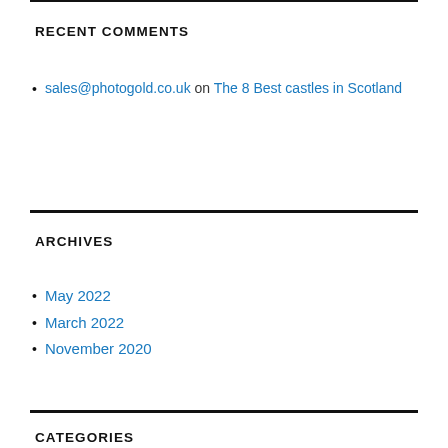RECENT COMMENTS
sales@photogold.co.uk on The 8 Best castles in Scotland
ARCHIVES
May 2022
March 2022
November 2020
CATEGORIES